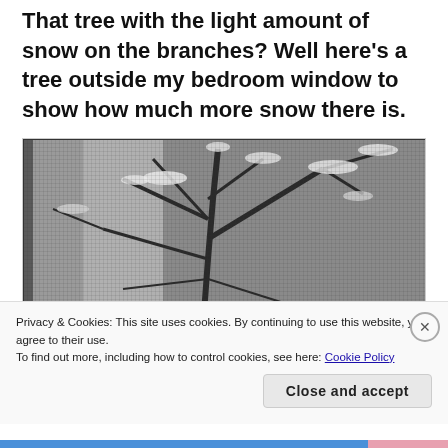That tree with the light amount of snow on the branches? Well here's a tree outside my bedroom window to show how much more snow there is.
[Figure (photo): Black and white photograph of a snowy tree viewed through a window with a screen, showing heavy snow on the branches.]
Privacy & Cookies: This site uses cookies. By continuing to use this website, you agree to their use.
To find out more, including how to control cookies, see here: Cookie Policy
Close and accept